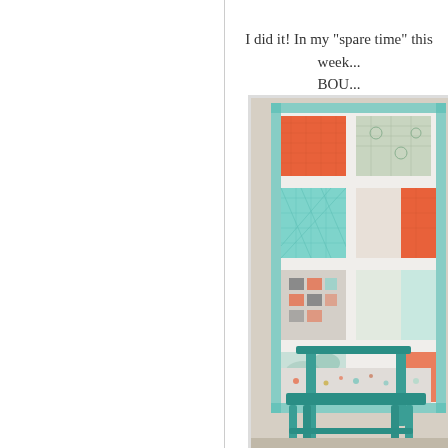I did it! In my "spare time" this week... BOU...
[Figure (photo): A colorful quilt with orange, teal/aqua, and white patchwork squares hanging on a wall behind a teal painted wooden chair. The quilt features geometric patterns with quilted texture.]